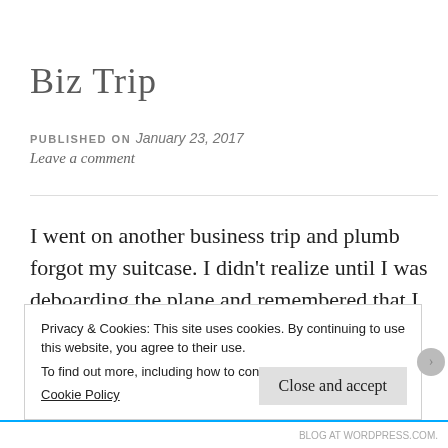Biz Trip
PUBLISHED ON January 23, 2017
Leave a comment
I went on another business trip and plumb forgot my suitcase. I didn't realize until I was deboarding the plane and remembered that I had not ever placed my suitcase overhead. My BFF was changing planes there and she
Privacy & Cookies: This site uses cookies. By continuing to use this website, you agree to their use.
To find out more, including how to control cookies, see here:
Cookie Policy
Close and accept